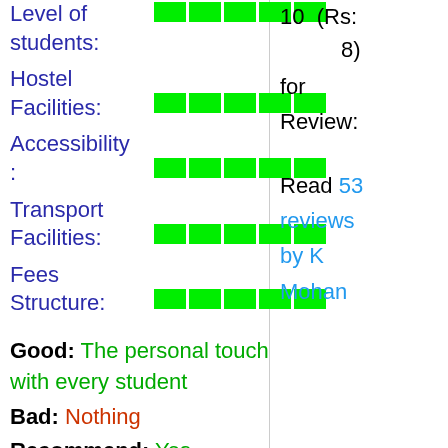Level of students:
[Figure (infographic): Green rating bar for Level of students]
Hostel Facilities:
[Figure (infographic): Green rating bar for Hostel Facilities]
Accessibility:
[Figure (infographic): Green rating bar for Accessibility]
Transport Facilities:
[Figure (infographic): Green rating bar for Transport Facilities]
Fees Structure:
[Figure (infographic): Green rating bar for Fees Structure]
Good: The personal touch with every student
Bad: Nothing
Recommend: Yes
10 (Rs: 8)
for
Review:
Read 53 reviews by K Mohan